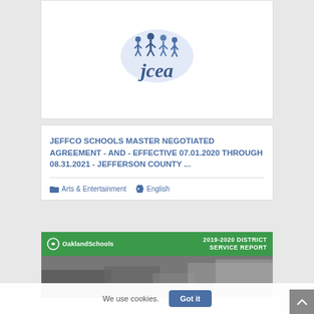[Figure (logo): JCEA logo with small figures on top and 'jcea' text in blue, blue glow background]
JEFFCO SCHOOLS MASTER NEGOTIATED AGREEMENT - AND - EFFECTIVE 07.01.2020 THROUGH 08.31.2021 - JEFFERSON COUNTY ...
Arts & Entertainment   English
[Figure (screenshot): Oakland Schools 2019-2020 District Service Report banner in green with photo below]
We use cookies.
Got it